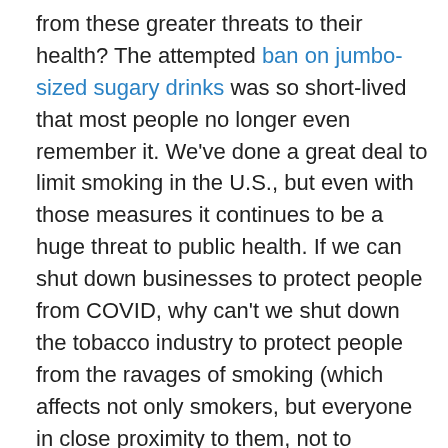from these greater threats to their health? The attempted ban on jumbo-sized sugary drinks was so short-lived that most people no longer even remember it. We've done a great deal to limit smoking in the U.S., but even with those measures it continues to be a huge threat to public health. If we can shut down businesses to protect people from COVID, why can't we shut down the tobacco industry to protect people from the ravages of smoking (which affects not only smokers, but everyone in close proximity to them, not to mention imposing enormous costs on the healthcare system)? Bars and restaurants can, in theory, be held legally liable for serving alcohol to obviously inebriated customers, but in practice that law is seldom enforced and we have no legal limits whatever on the sales of alcohol in retail outlets.
Obesity makes people more vulnerable to death not